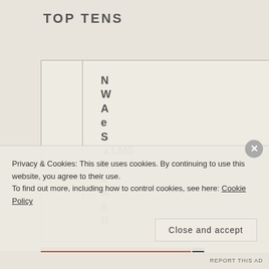TOP TENS
|  | N
W
A
e
S
▲LMS
C
k
A
8
R |
|  | B
P
r
C |
Privacy & Cookies: This site uses cookies. By continuing to use this website, you agree to their use.
To find out more, including how to control cookies, see here: Cookie Policy
Close and accept